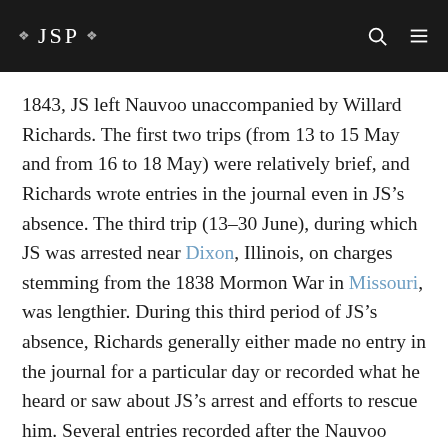JSP
1843, JS left Nauvoo unaccompanied by Willard Richards. The first two trips (from 13 to 15 May and from 16 to 18 May) were relatively brief, and Richards wrote entries in the journal even in JS’s absence. The third trip (13–30 June), during which JS was arrested near Dixon, Illinois, on charges stemming from the 1838 Mormon War in Missouri, was lengthier. During this third period of JS’s absence, Richards generally either made no entry in the journal for a particular day or recorded what he heard or saw about JS’s arrest and efforts to rescue him. Several entries recorded after the Nauvoo Municipal Court discharged JS from arrest on 1 July illustrate the hostility that the rescue and release engendered among many non-Mormons in the area.